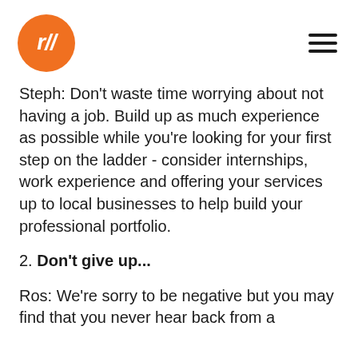r//
Steph: Don't waste time worrying about not having a job. Build up as much experience as possible while you're looking for your first step on the ladder - consider internships, work experience and offering your services up to local businesses to help build your professional portfolio.
2. Don't give up...
Ros: We're sorry to be negative but you may find that you never hear back from a